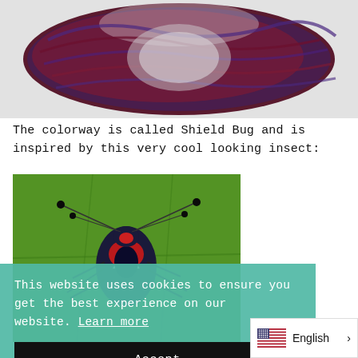[Figure (photo): A skein of hand-dyed yarn in deep burgundy/maroon and purple/blue colorway called Shield Bug, photographed on a light grey background.]
The colorway is called Shield Bug and is inspired by this very cool looking insect:
[Figure (photo): Close-up photo of a shield bug insect on a green leaf. The bug has distinctive red and black markings with long antennae tipped in black.]
This website uses cookies to ensure you get the best experience on our website. Learn more
Accept
English